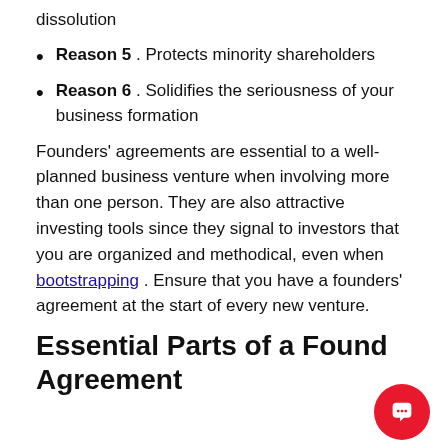dissolution
Reason 5. Protects minority shareholders
Reason 6. Solidifies the seriousness of your business formation
Founders' agreements are essential to a well-planned business venture when involving more than one person. They are also attractive investing tools since they signal to investors that you are organized and methodical, even when bootstrapping . Ensure that you have a founders' agreement at the start of every new venture.
Essential Parts of a Founders' Agreement